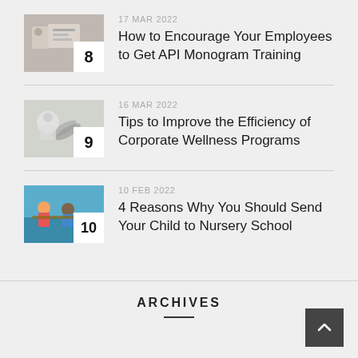17 MAR 2022 — How to Encourage Your Employees to Get API Monogram Training
16 MAR 2022 — Tips to Improve the Efficiency of Corporate Wellness Programs
10 FEB 2022 — 4 Reasons Why You Should Send Your Child to Nursery School
ARCHIVES